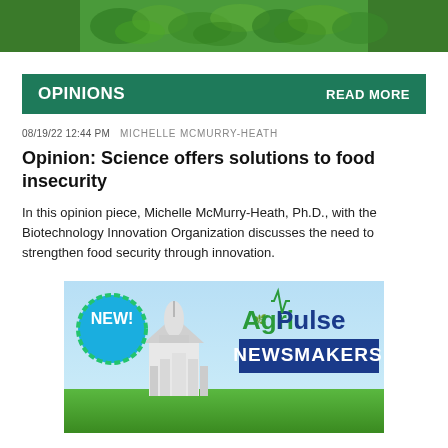[Figure (photo): Green crop field banner at top of page]
OPINIONS
READ MORE
08/19/22 12:44 PM  MICHELLE MCMURRY-HEATH
Opinion: Science offers solutions to food insecurity
In this opinion piece, Michelle McMurry-Heath, Ph.D., with the Biotechnology Innovation Organization discusses the need to strengthen food security through innovation.
[Figure (photo): Agri-Pulse Newsmakers advertisement banner with NEW! badge, US Capitol building, and logo]